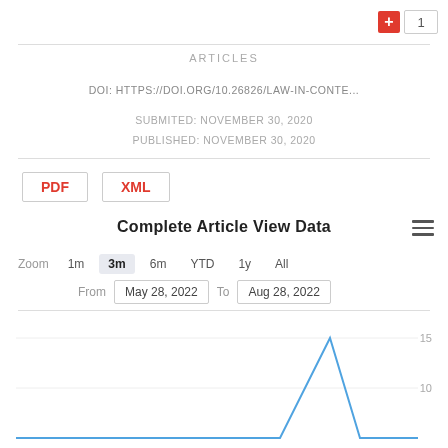ARTICLES
DOI: HTTPS://DOI.ORG/10.26826/LAW-IN-CONTE...
SUBMITED: NOVEMBER 30, 2020
PUBLISHED: NOVEMBER 30, 2020
PDF
XML
[Figure (line-chart): Line chart showing article view data from May 28, 2022 to Aug 28, 2022 with a sharp spike near Aug 2022 reaching approximately 15 views]